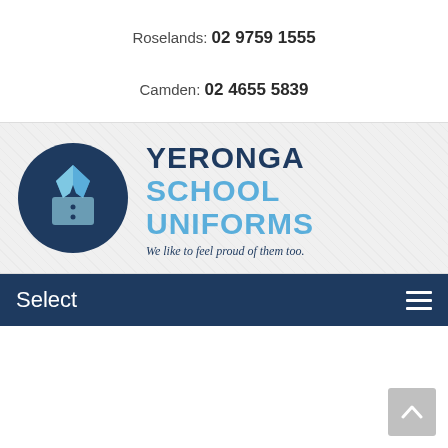Roselands: 02 9759 1555
Camden: 02 4655 5839
[Figure (logo): Yeronga School Uniforms logo — dark blue circle with a shirt/collar icon, with text 'YERONGA SCHOOL UNIFORMS' and tagline 'We like to feel proud of them too.']
Select
[Figure (other): Scroll-to-top button in bottom right corner]